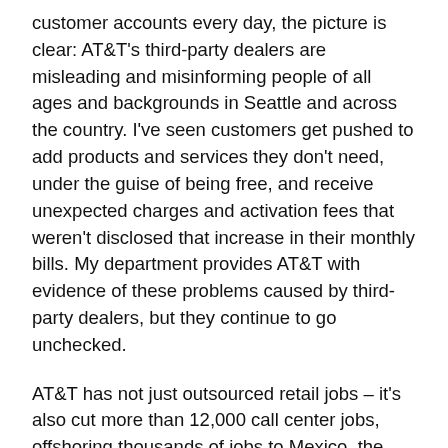customer accounts every day, the picture is clear: AT&T's third-party dealers are misleading and misinforming people of all ages and backgrounds in Seattle and across the country. I've seen customers get pushed to add products and services they don't need, under the guise of being free, and receive unexpected charges and activation fees that weren't disclosed that increase in their monthly bills. My department provides AT&T with evidence of these problems caused by third-party dealers, but they continue to go unchecked.
AT&T has not just outsourced retail jobs – it's also cut more than 12,000 call center jobs, offshoring thousands of jobs to Mexico, the Philippines, India and other countries, and moving others to parts of the U.S. that pay lower wages.
When I started working at AT&T, there were 300 representatives on my floor. But four years later I've